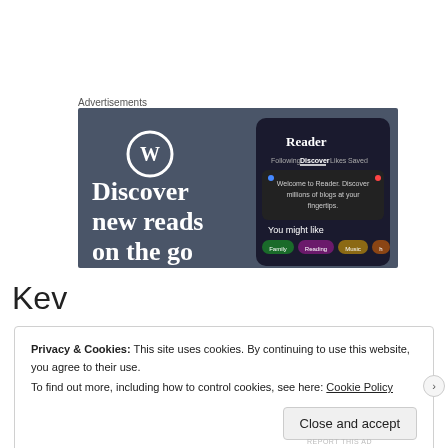Advertisements
[Figure (screenshot): WordPress advertisement banner showing 'Discover new reads on the go' with a Reader app interface on a dark background, featuring category pills like Family, Reading, Music.]
Kev
Privacy & Cookies: This site uses cookies. By continuing to use this website, you agree to their use.
To find out more, including how to control cookies, see here: Cookie Policy
Close and accept